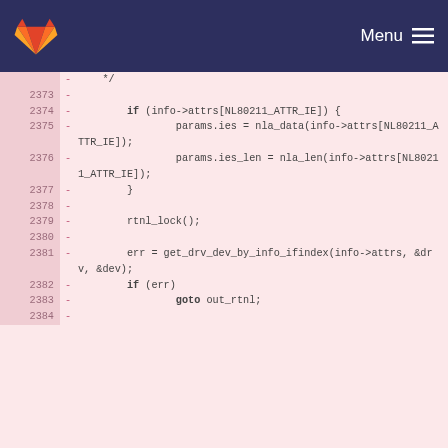GitLab — Menu
[Figure (screenshot): GitLab code diff view showing lines 2373-2384 of a C source file with deleted lines (marked with -) containing kernel networking code including if (info->attrs[NL80211_ATTR_IE]), params.ies assignments, params.ies_len assignments, rtnl_lock(), err = get_drv_dev_by_info_ifindex(), if (err), and goto out_rtnl;]